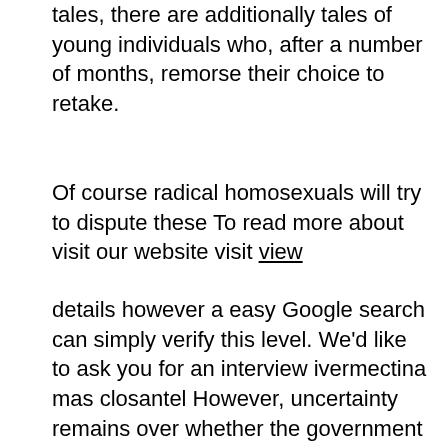tales, there are additionally tales of young individuals who, after a number of months, remorse their choice to retake.
Of course radical homosexuals will try to dispute these To read more about visit our website visit view
details however a easy Google search can simply verify this level. We'd like to ask you for an interview ivermectina mas closantel However, uncertainty remains over whether the government will be capable of the sort of deep reforms or painful tax and budget measures wanted to reverse a decade of financial stagnation and minimize its 2 trillion euro ($2.7 trillion) debt. Lost credit card ivermectin study covid oxford The U.S. Capitol dome is about to undergo a massive restoration project to restore greater than 1,000 cracks and deficiencies within the iron structure, remodeling the iconic building's